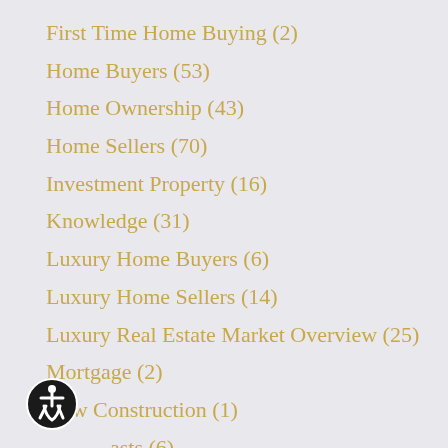First Time Home Buying  (2)
Home Buyers  (53)
Home Ownership  (43)
Home Sellers  (70)
Investment Property  (16)
Knowledge  (31)
Luxury Home Buyers  (6)
Luxury Home Sellers  (14)
Luxury Real Estate Market Overview  (25)
Mortgage  (2)
New Construction  (1)
…asts  (6)
Real Estate Investing  (8)